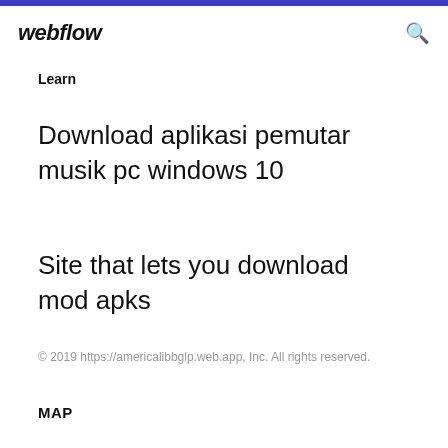webflow
Learn
Download aplikasi pemutar musik pc windows 10
Site that lets you download mod apks
© 2019 https://americalibbglp.web.app, Inc. All rights reserved.
MAP